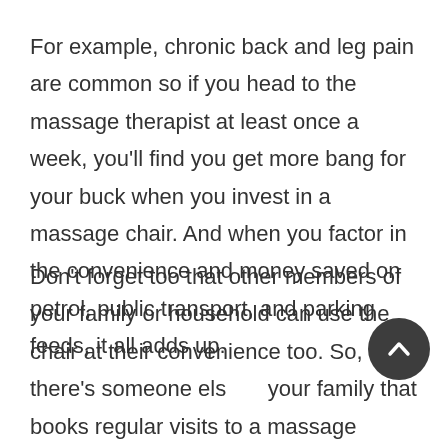For example, chronic back and leg pain are common so if you head to the massage therapist at least once a week, you'll find you get more bang for your buck when you invest in a massage chair. And when you factor in the convenience and money saved on petrol, public transport, and parking feeds, it all adds up.
Don't forget too that other members of your family or household can use the chair at their convenience too. So, if there's someone else in your family that books regular visits to a massage therapist or chiropractor, then the